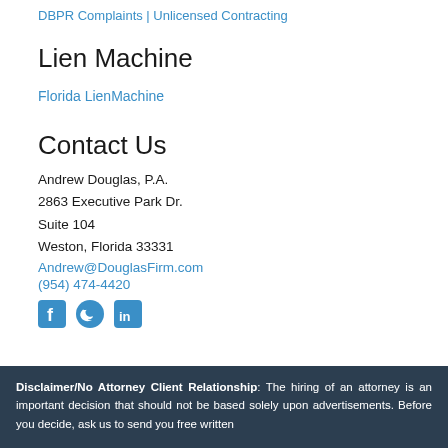DBPR Complaints | Unlicensed Contracting
Lien Machine
Florida LienMachine
Contact Us
Andrew Douglas, P.A.
2863 Executive Park Dr.
Suite 104
Weston, Florida 33331
Andrew@DouglasFirm.com
(954) 474-4420
[Figure (infographic): Social media icons: Facebook, Twitter, LinkedIn]
Disclaimer/No Attorney Client Relationship: The hiring of an attorney is an important decision that should not be based solely upon advertisements. Before you decide, ask us to send you free written